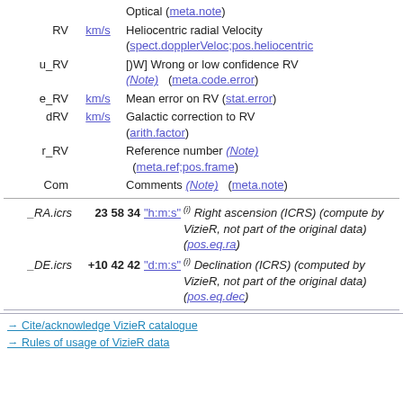| Field | Unit | Description |
| --- | --- | --- |
| RV | km/s | Heliocentric radial Velocity (spect.dopplerVeloc;pos.heliocentric) |
| u_RV |  | [)W] Wrong or low confidence RV (Note) (meta.code.error) |
| e_RV | km/s | Mean error on RV (stat.error) |
| dRV | km/s | Galactic correction to RV (arith.factor) |
| r_RV |  | Reference number (Note) (meta.ref;pos.frame) |
| Com |  | Comments (Note) (meta.note) |
| Field | Value | Unit | Description |
| --- | --- | --- | --- |
| _RA.icrs | 23 58 34 | "h:m:s" | Right ascension (ICRS) (computed by VizieR, not part of the original data) (pos.eq.ra) |
| _DE.icrs | +10 42 42 | "d:m:s" | Declination (ICRS) (computed by VizieR, not part of the original data) (pos.eq.dec) |
→ Cite/acknowledge VizieR catalogue
→ Rules of usage of VizieR data